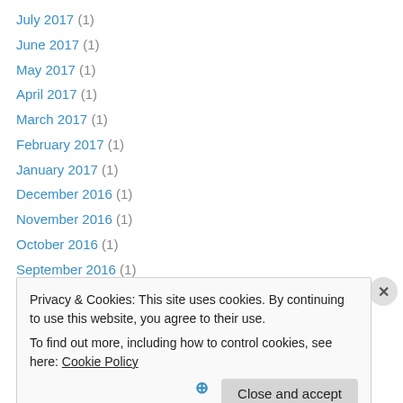July 2017 (1)
June 2017 (1)
May 2017 (1)
April 2017 (1)
March 2017 (1)
February 2017 (1)
January 2017 (1)
December 2016 (1)
November 2016 (1)
October 2016 (1)
September 2016 (1)
August 2016 (1)
July 2016 (1)
Privacy & Cookies: This site uses cookies. By continuing to use this website, you agree to their use. To find out more, including how to control cookies, see here: Cookie Policy
Close and accept